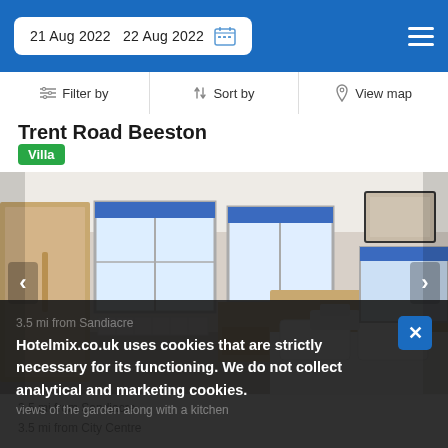21 Aug 2022   22 Aug 2022
Filter by   Sort by   View map
Trent Road Beeston
Villa
[Figure (photo): Hotel/villa bedroom interior with white bedding, wooden furniture, two windows with blue roller blinds, a mirror on the wall, carpeted floor.]
3.5 mi from Sandiacre
3.5 mi from City Centre
views of the garden along with a kitchen
Hotelmix.co.uk uses cookies that are strictly necessary for its functioning. We do not collect analytical and marketing cookies.